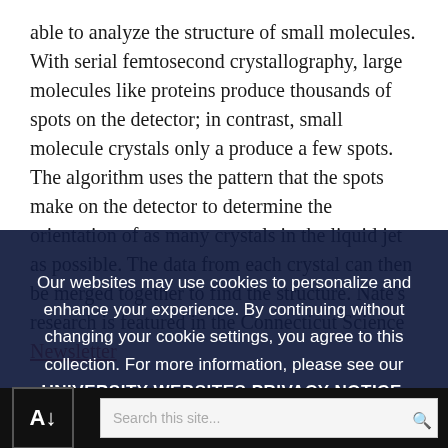able to analyze the structure of small molecules. With serial femtosecond crystallography, large molecules like proteins produce thousands of spots on the detector; in contrast, small molecule crystals only a produce a few spots. The algorithm uses the pattern that the spots make on the detector to determine the orientation of as many crystals in the liquid jet as possible. The data from each crystal can then be merged together to find the structure. Nate's research is featured in the Connecticut Science Newsletter
Posted in Faculty, Faculty Research, Institute of Materials Science
Our websites may use cookies to personalize and enhance your experience. By continuing without changing your cookie settings, you agree to this collection. For more information, please see our UNIVERSITY WEBSITES PRIVACY NOTICE.